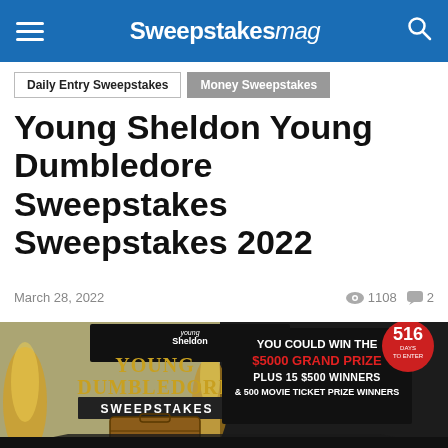Sweepstakesmag
Daily Entry Sweepstakes
Money Sweepstakes
Young Sheldon Young Dumbledore Sweepstakes Sweepstakes 2022
March 28, 2022  1108  2
[Figure (photo): Young Sheldon Young Dumbledore Sweepstakes promotional banner. Shows 'young Sheldon YOUNG DUMBLEDORE SWEEPSTAKES' text over an old suitcase with flames. Text reads: YOU COULD WIN THE $5000 GRAND PRIZE PLUS 15 $500 WINNERS & 500 MOVIE TICKET PRIZE WINNERS. Red badge with 516 days to enter.]